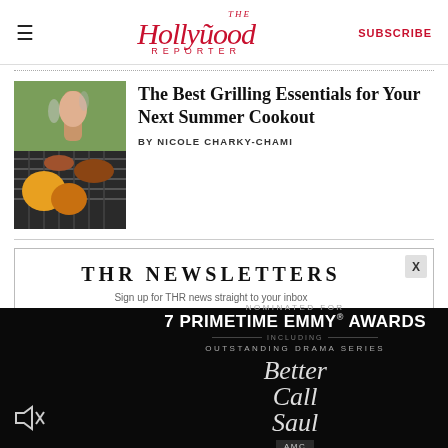The Hollywood Reporter — SUBSCRIBE
[Figure (photo): Grilling scene with vegetables and meat on a grill, someone holding food over it]
The Best Grilling Essentials for Your Next Summer Cookout
BY NICOLE CHARKY-CHAMI
THR NEWSLETTERS
Sign up for THR news straight to your inbox
[Figure (screenshot): Better Call Saul advertisement: Nominated for 7 Primetime Emmy Awards including Outstanding Drama Series, Better Call Saul on AMC]